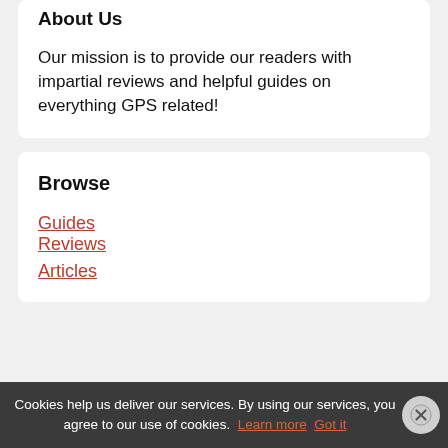About Us
Our mission is to provide our readers with impartial reviews and helpful guides on everything GPS related!
Browse
Guides
Reviews
Articles
Cookies help us deliver our services. By using our services, you agree to our use of cookies. Learn more Got it